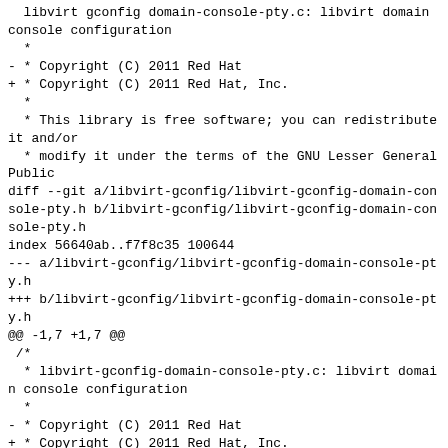libvirt gconfig domain console pty.c: libvirt domain console configuration
 *
- * Copyright (C) 2011 Red Hat
+ * Copyright (C) 2011 Red Hat, Inc.
  *
  * This library is free software; you can redistribute it and/or
  * modify it under the terms of the GNU Lesser General Public
diff --git a/libvirt-gconfig/libvirt-gconfig-domain-console-pty.h b/libvirt-gconfig/libvirt-gconfig-domain-console-pty.h
index 56640ab..f7f8c35 100644
--- a/libvirt-gconfig/libvirt-gconfig-domain-console-pty.h
+++ b/libvirt-gconfig/libvirt-gconfig-domain-console-pty.h
@@ -1,7 +1,7 @@
 /*
  * libvirt-gconfig-domain-console-pty.c: libvirt domain console configuration
  *
- * Copyright (C) 2011 Red Hat
+ * Copyright (C) 2011 Red Hat, Inc.
  *
  * This library is free software; you can redistribute it and/or
  * modify it under the terms of the GNU Lesser General Public
diff --git a/libvirt-gconfig/libvirt-gconfig-domain-